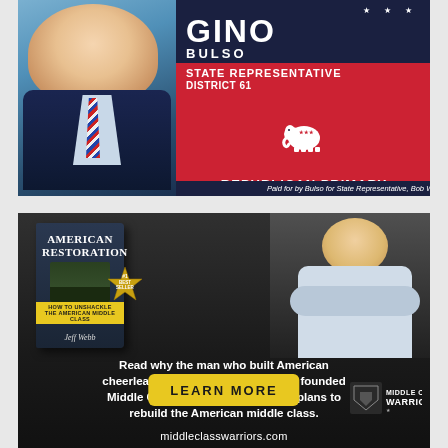[Figure (illustration): Political campaign advertisement for Gino Bulso, State Representative District 61, Republican Primary. Shows a man in a suit on the left and red/navy text on the right with Republican elephant logo.]
[Figure (illustration): Advertisement for 'American Restoration' book by Jeff Webb (#1 Best Seller) and Middle Class Warriors organization. Shows the book cover, a man with arms crossed, text 'Read why the man who built American cheerleading over the past 40 years founded Middle Class Warriors and how he plans to rebuild the American middle class.' with a Learn More button and middleclasswarriors.com URL.]